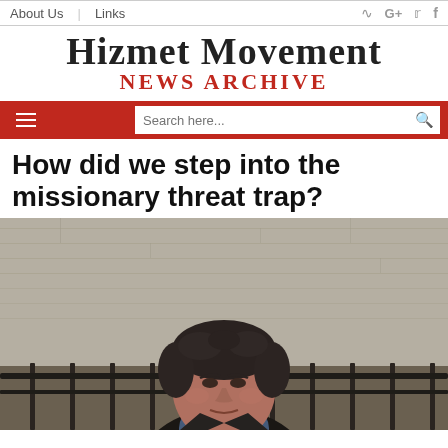About Us | Links
HIZMET MOVEMENT NEWS ARCHIVE
How did we step into the missionary threat trap?
[Figure (photo): Portrait photo of a middle-aged man with dark curly hair, wearing a dark jacket over a blue shirt, standing in front of a stone wall with an iron railing]